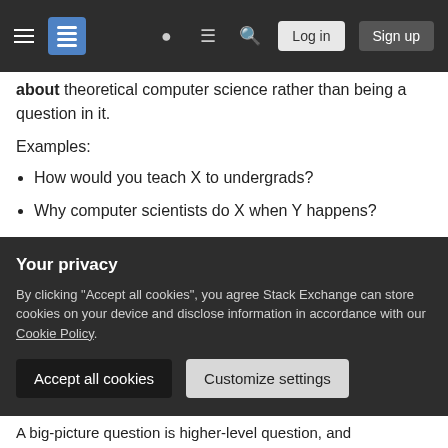[Figure (screenshot): Stack Exchange navigation bar with hamburger menu, logo, icons, Log in and Sign up buttons on dark background]
about theoretical computer science rather than being a question in it.
Examples:
How would you teach X to undergrads?
Why computer scientists do X when Y happens?
Is theoretical computer science part of pure math?
How long will it take to settle P vs NP in your
Your privacy
By clicking "Accept all cookies", you agree Stack Exchange can store cookies on your device and disclose information in accordance with our Cookie Policy.
A big-picture question is higher-level question, and